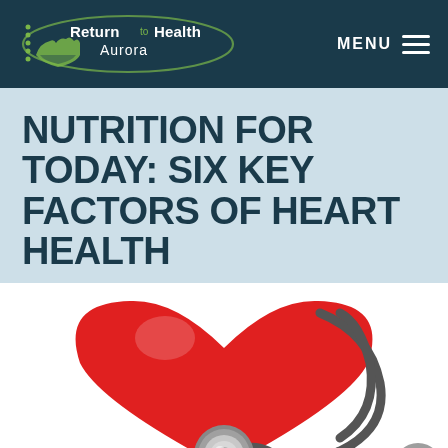Return to Health Aurora — MENU
NUTRITION FOR TODAY: SIX KEY FACTORS OF HEART HEALTH
[Figure (photo): A red heart-shaped object with a stethoscope placed in front of it, on a white background. The stethoscope chest piece is visible at the center. A grey circular scroll-to-top button is in the bottom right corner.]